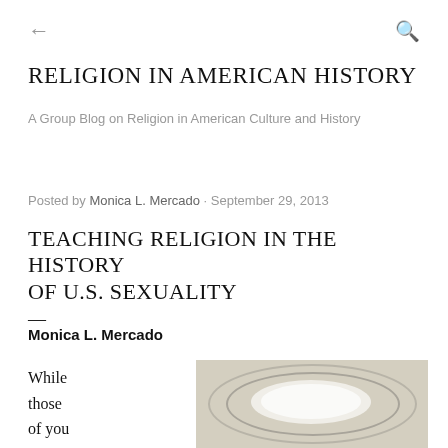← (back) | Q (search)
RELIGION IN AMERICAN HISTORY
A Group Blog on Religion in American Culture and History
Posted by Monica L. Mercado · September 29, 2013
TEACHING RELIGION IN THE HISTORY OF U.S. SEXUALITY
—
Monica L. Mercado
While those of you on
[Figure (photo): Interior ceiling photograph showing a large oval recessed light fixture with a glowing white circular lamp, set within a gridded ceiling tile surround.]